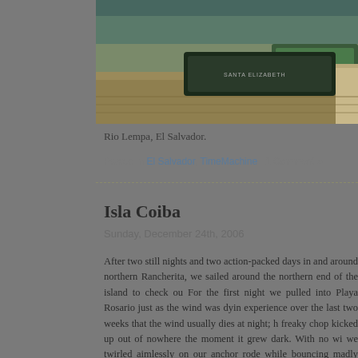[Figure (photo): Photo of boats on water at Rio Lempa, El Salvador. A dark-colored boat labeled in the foreground and a green boat to the right, on murky brown water.]
Rio Lempa, El Salvador.
Posted in El Salvador, TimeMachine | 1 Comment »
Isla Coiba
Sunday, December 24th, 2006
After two still nights and two action-packed days in and around northern Rancherita, we sailed around the northern end of the island to check ou For the first night we pulled into Playa Rosario just as the wind was dyin experience over the last two weeks that the wind usually dies at night; h freaky chop kicked up out of nowhere the moment it grew dark. With no wi we twirled aimlessly on our anchor rode while bouncing madly ever perpendicular to the chop. Lying in bed, wide awake, it sounded as if our pieces as it thrashed back and forth. To make matters more exciting, we under one position of our anchor swing and as we passed over it, a loud cr ominously through the boat. Needless to say, neither of us got much slee brought us glaring to the surface of the cabin to eyeball this freakish c pulled anchor before even the coffee pot was on to boil and got the hell out